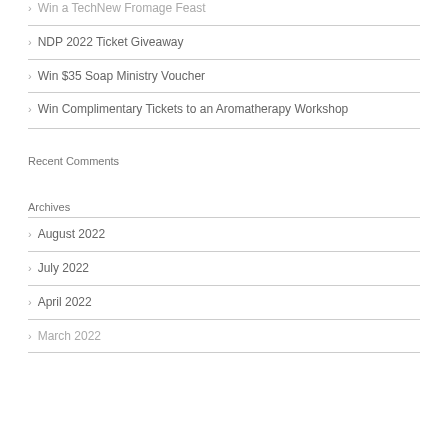Win a TechNew Fromage Feast
NDP 2022 Ticket Giveaway
Win $35 Soap Ministry Voucher
Win Complimentary Tickets to an Aromatherapy Workshop
Recent Comments
Archives
August 2022
July 2022
April 2022
March 2022